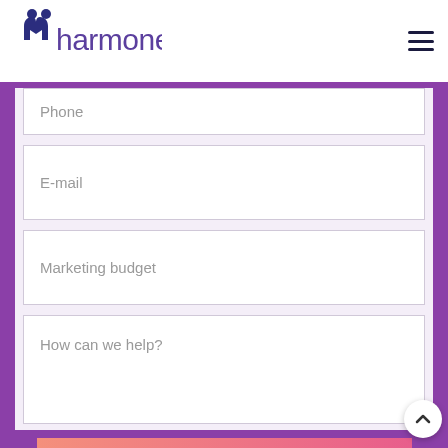[Figure (logo): Harmoney logo with two person icons and the word 'harmoney' in dark navy blue]
Phone
E-mail
Marketing budget
How can we help?
REQUEST A CALL